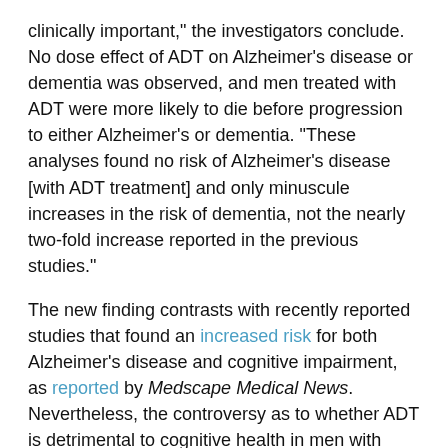clinically important," the investigators conclude. No dose effect of ADT on Alzheimer's disease or dementia was observed, and men treated with ADT were more likely to die before progression to either Alzheimer's or dementia. "These analyses found no risk of Alzheimer's disease [with ADT treatment] and only minuscule increases in the risk of dementia, not the nearly two-fold increase reported in the previous studies."
The new finding contrasts with recently reported studies that found an increased risk for both Alzheimer's disease and cognitive impairment, as reported by Medscape Medical News. Nevertheless, the controversy as to whether ADT is detrimental to cognitive health in men with advanced prostate cancer continues. Dr McDonald and colleagues point out that a meta-analysis of six studies showed that the risk for dementia was 47% higher following ADT than it was following another type of management. It also demonstrated that all-cause dementia was 46% more likely and that the risk for Alzheimer's disease was 25% higher among men treated